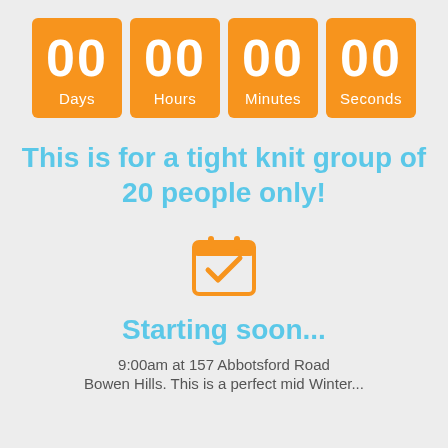[Figure (infographic): Countdown timer with four orange boxes showing 00 Days, 00 Hours, 00 Minutes, 00 Seconds]
This is for a tight knit group of 20 people only!
[Figure (illustration): Orange calendar icon with a checkmark]
Starting soon...
9:00am at 157 Abbotsford Road
Bowen Hills. This is a perfect mid Winter...